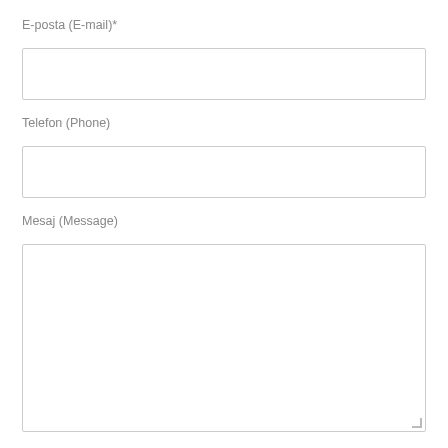E-posta (E-mail)*
[Figure (other): Empty text input field for E-mail]
Telefon (Phone)
[Figure (other): Empty text input field for Phone]
Mesaj (Message)
[Figure (other): Empty textarea input field for Message with resize handle]
Human Verification *
[Figure (other): CAPTCHA image showing text: R 6 J 3 in bold serif italic mixed font]